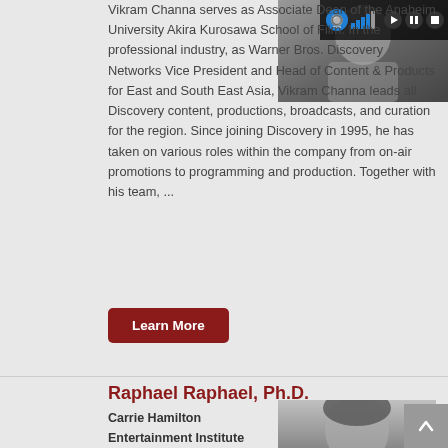Vikram Channa serves as Associate Dean of the Anaheim University Akira Kurosawa School of Film. In the professional industry, as Warner Bros. Discovery Networks Vice President and Head of Content & Products for East and South East Asia, Vikram Channa leads all Discovery content, productions, broadcasts, and curation for the region. Since joining Discovery in 1995, he has taken on various roles within the company from on-air promotions to programming and production. Together with his team, ...
[Figure (photo): Headshot photo of a person, partially visible]
[Figure (screenshot): Media player controls bar with accessibility icon, signal bars, play, pause, and stop buttons]
Learn More
Raphael Raphael, Ph.D.
Carrie Hamilton
Entertainment Institute Director
Film Professor
[Figure (photo): Black and white headshot photo of Raphael Raphael, showing curly hair]